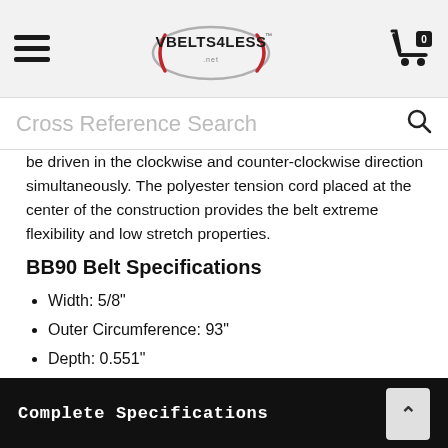VBelts4Less [logo] | Cart (0)
Cross Reference Search
be driven in the clockwise and counter-clockwise direction simultaneously. The polyester tension cord placed at the center of the construction provides the belt extreme flexibility and low stretch properties.
BB90 Belt Specifications
Width: 5/8"
Outer Circumference: 93"
Depth: 0.551"
Heat & Oil Resistant
BB90 Belt Cross References
Complete Specifications